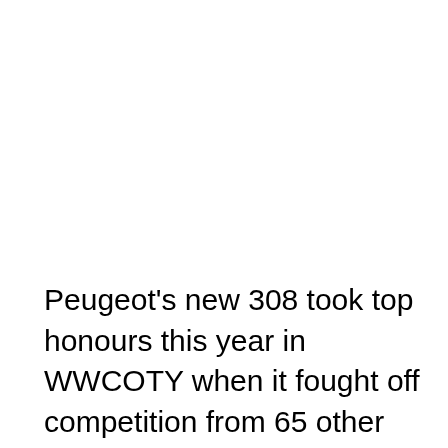Peugeot's new 308 took top honours this year in WWCOTY when it fought off competition from 65 other cars worldwide to be named Supreme Winner. The culmination of a year of testing, assessing and voting on scores of cars from across the globe came at an intimate awards ceremony in the French capital when Jackson accepted the trophy on behalf of Peugeot.